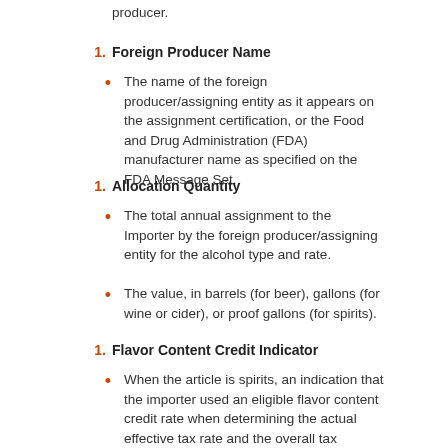producer.
1.  Foreign Producer Name
The name of the foreign producer/assigning entity as it appears on the assignment certification, or the Food and Drug Administration (FDA) manufacturer name as specified on the FDA Message Set.
1.  Allocation Quantity
The total annual assignment to the Importer by the foreign producer/assigning entity for the alcohol type and rate.
The value, in barrels (for beer), gallons (for wine or cider), or proof gallons (for spirits).
1.  Flavor Content Credit Indicator
When the article is spirits, an indication that the importer used an eligible flavor content credit rate when determining the actual effective tax rate and the overall tax amount.